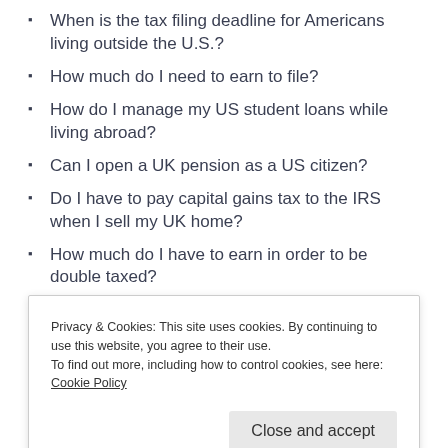When is the tax filing deadline for Americans living outside the U.S.?
How much do I need to earn to file?
How do I manage my US student loans while living abroad?
Can I open a UK pension as a US citizen?
Do I have to pay capital gains tax to the IRS when I sell my UK home?
How much do I have to earn in order to be double taxed?
Privacy & Cookies: This site uses cookies. By continuing to use this website, you agree to their use.
To find out more, including how to control cookies, see here: Cookie Policy
Close and accept
unsure of your tax obligations